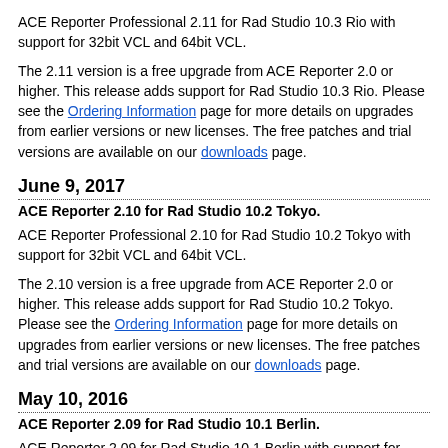ACE Reporter Professional 2.11 for Rad Studio 10.3 Rio with support for 32bit VCL and 64bit VCL.
The 2.11 version is a free upgrade from ACE Reporter 2.0 or higher. This release adds support for Rad Studio 10.3 Rio. Please see the Ordering Information page for more details on upgrades from earlier versions or new licenses. The free patches and trial versions are available on our downloads page.
June 9, 2017
ACE Reporter 2.10 for Rad Studio 10.2 Tokyo.
ACE Reporter Professional 2.10 for Rad Studio 10.2 Tokyo with support for 32bit VCL and 64bit VCL.
The 2.10 version is a free upgrade from ACE Reporter 2.0 or higher. This release adds support for Rad Studio 10.2 Tokyo. Please see the Ordering Information page for more details on upgrades from earlier versions or new licenses. The free patches and trial versions are available on our downloads page.
May 10, 2016
ACE Reporter 2.09 for Rad Studio 10.1 Berlin.
ACE Reporter 2.09 for Rad Studio 10.1 Berlin with support for 32bit VCL and 64bit VCL.